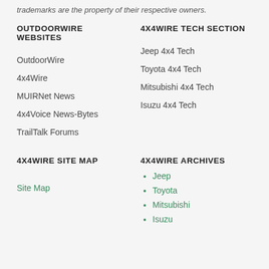trademarks are the property of their respective owners.
OUTDOORWIRE WEBSITES
4X4WIRE TECH SECTION
OutdoorWire
Jeep 4x4 Tech
4x4Wire
Toyota 4x4 Tech
MUIRNet News
Mitsubishi 4x4 Tech
4x4Voice News-Bytes
Isuzu 4x4 Tech
TrailTalk Forums
4X4WIRE SITE MAP
4X4WIRE ARCHIVES
Site Map
Jeep
Toyota
Mitsubishi
Isuzu